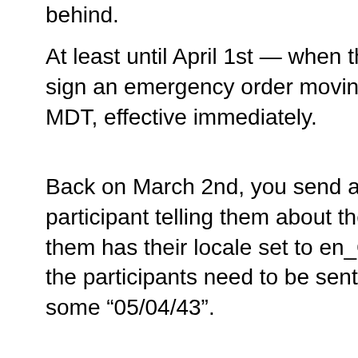behind.
At least until April 1st — when the governor will sign an emergency order moving the state to MDT, effective immediately.
Back on March 2nd, you send an email to each participant telling them about the meeting. One of them has their locale set to en_GB, so some of the participants need to be sent “04/05/43” and some “05/04/43”.
A moment later, the user asks you to tell it the number of hours betweeen now and the meeting they just scheduled. The subject of the meeting is purchasing fuel for a machine that the user is now filling with enough fuel to last until then